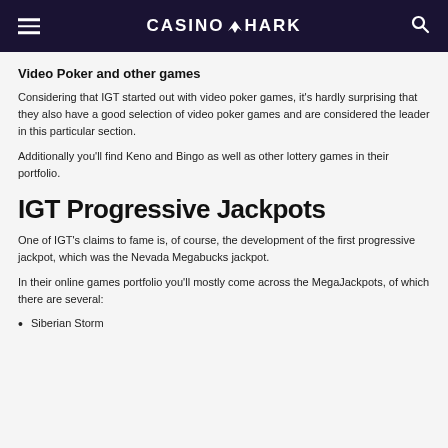CASINOSHARK
Video Poker and other games
Considering that IGT started out with video poker games, it's hardly surprising that they also have a good selection of video poker games and are considered the leader in this particular section.
Additionally you'll find Keno and Bingo as well as other lottery games in their portfolio.
IGT Progressive Jackpots
One of IGT's claims to fame is, of course, the development of the first progressive jackpot, which was the Nevada Megabucks jackpot.
In their online games portfolio you'll mostly come across the MegaJackpots, of which there are several:
Siberian Storm